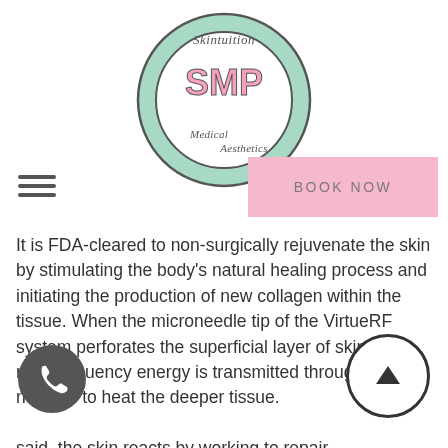[Figure (logo): Skintuition SMP Medical Aesthetics circular logo with mint green background and pink SMP lettering]
[Figure (other): Hamburger menu icon (three horizontal lines)]
BOOK NOW
It is FDA-cleared to non-surgically rejuvenate the skin by stimulating the body’s natural healing process and initiating the production of new collagen within the tissue. When the microneedle tip of the VirtueRF system perforates the superficial layer of skin, radiofrequency energy is transmitted through the needles to heat the deeper tissue.
[Figure (other): Phone/call button icon (dark circular button with phone handset)]
[Figure (other): Scroll up arrow button (circular outline with upward arrow)]
said, the skin reacts by working to repair the tissue through the formation of new elastin